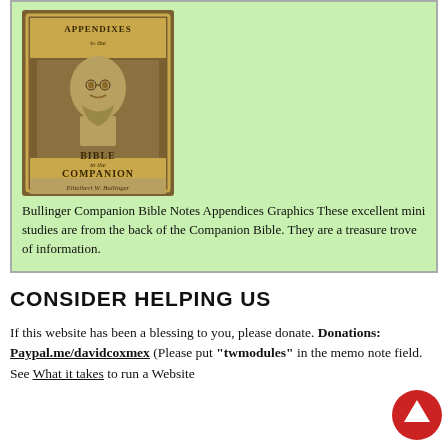[Figure (illustration): Book cover of 'Appendixes to the Companion Bible' with author portrait and leather-textured background, shown inside a green box]
Bullinger Companion Bible Notes Appendices Graphics These excellent mini studies are from the back of the Companion Bible. They are a treasure trove of information.
CONSIDER HELPING US
If this website has been a blessing to you, please donate. Donations: Paypal.me/davidcoxmex (Please put "twmodules" in the memo note field. See What it takes to run a Website